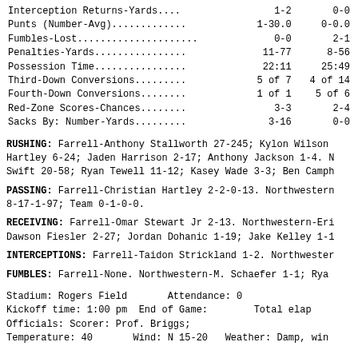| Stat | Team1 | Team2 |
| --- | --- | --- |
| Interception Returns-Yards.... | 1-2 | 0-0 |
| Punts (Number-Avg)............. | 1-30.0 | 0-0.0 |
| Fumbles-Lost................... | 0-0 | 2-1 |
| Penalties-Yards................ | 11-77 | 8-56 |
| Possession Time................ | 22:11 | 25:49 |
| Third-Down Conversions......... | 5 of 7 | 4 of 14 |
| Fourth-Down Conversions........ | 1 of 1 | 5 of 6 |
| Red-Zone Scores-Chances........ | 3-3 | 2-4 |
| Sacks By: Number-Yards......... | 3-16 | 0-0 |
RUSHING: Farrell-Anthony Stallworth 27-245; Kylon Wilson Hartley 6-24; Jaden Harrison 2-17; Anthony Jackson 1-4. N Swift 20-58; Ryan Tewell 11-12; Kasey Wade 3-3; Ben Camph
PASSING: Farrell-Christian Hartley 2-2-0-13. Northwestern 8-17-1-97; Team 0-1-0-0.
RECEIVING: Farrell-Omar Stewart Jr 2-13. Northwestern-Eri Dawson Fiesler 2-27; Jordan Dohanic 1-19; Jake Kelley 1-1
INTERCEPTIONS: Farrell-Taidon Strickland 1-2. Northwester
FUMBLES: Farrell-None. Northwestern-M. Schaefer 1-1; Rya
Stadium: Rogers Field    Attendance: 0
Kickoff time: 1:00 pm  End of Game:        Total elap
Officials: Scorer: Prof. Briggs;
Temperature: 40       Wind: N 15-20   Weather: Damp, win